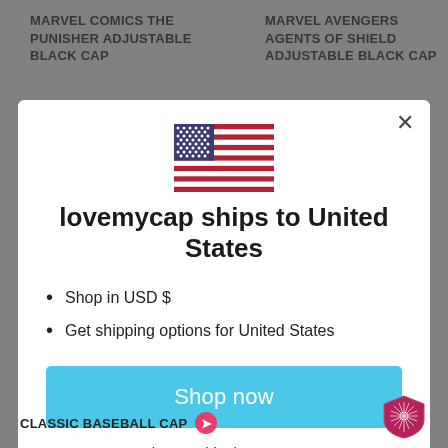MARVEL COMICS THE PUNISHER ADJUSTABLE BLACK CAP
MARVEL AVENGERS AGENTS OF SHIELD ADJUSTABLE BLACK CAP
[Figure (illustration): US flag SVG illustration centered in modal dialog]
lovemycap ships to United States
Shop in USD $
Get shipping options for United States
Shop now
Change shipping country
CLASSIC BASEBALL CAP